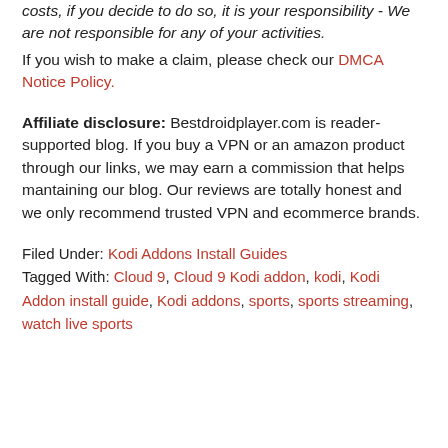strongly advise our readers to avoid piracy at all costs, if you decide to do so, it is your responsibility - We are not responsible for any of your activities. If you wish to make a claim, please check our DMCA Notice Policy.
Affiliate disclosure: Bestdroidplayer.com is reader-supported blog. If you buy a VPN or an amazon product through our links, we may earn a commission that helps mantaining our blog. Our reviews are totally honest and we only recommend trusted VPN and ecommerce brands.
Filed Under: Kodi Addons Install Guides
Tagged With: Cloud 9, Cloud 9 Kodi addon, kodi, Kodi Addon install guide, Kodi addons, sports, sports streaming, watch live sports